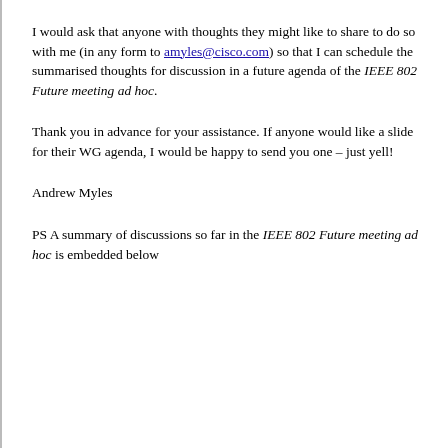I would ask that anyone with thoughts they might like to share to do so with me (in any form to amyles@cisco.com) so that I can schedule the summarised thoughts for discussion in a future agenda of the IEEE 802 Future meeting ad hoc.
Thank you in advance for your assistance. If anyone would like a slide for their WG agenda, I would be happy to send you one – just yell!
Andrew Myles
PS A summary of discussions so far in the IEEE 802 Future meeting ad hoc is embedded below